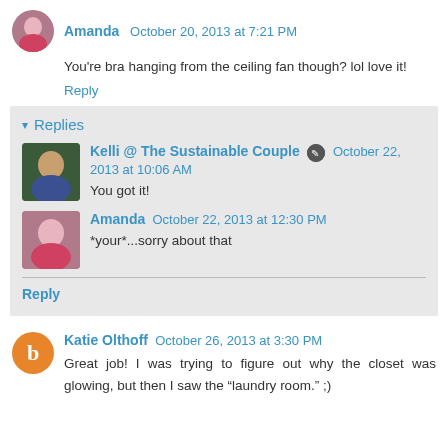Amanda  October 20, 2013 at 7:21 PM
You're bra hanging from the ceiling fan though? lol love it!
Reply
Replies
Kelli @ The Sustainable Couple  October 22, 2013 at 10:06 AM
You got it!
Amanda  October 22, 2013 at 12:30 PM
*your*...sorry about that
Reply
Katie Olthoff  October 26, 2013 at 3:30 PM
Great job! I was trying to figure out why the closet was glowing, but then I saw the "laundry room." ;)